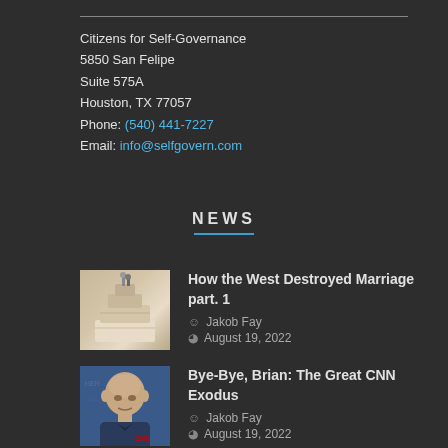Citizens for Self-Governance
5850 San Felipe
Suite 575A
Houston, TX 77057
Phone: (540) 441-7227
Email: info@selfgovern.com
NEWS
How the West Destroyed Marriage part. 1
Jakob Fay
August 19, 2022
Bye-Bye, Brian: The Great CNN Exodus
Jakob Fay
August 19, 2022